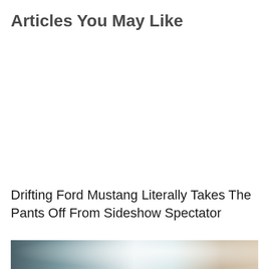Articles You May Like
Drifting Ford Mustang Literally Takes The Pants Off From Sideshow Spectator
[Figure (photo): Partial photo of a car scene, showing the edge of a dark blue car hood on the left and a blurred bright background with a person's arm/torso visible on the right]